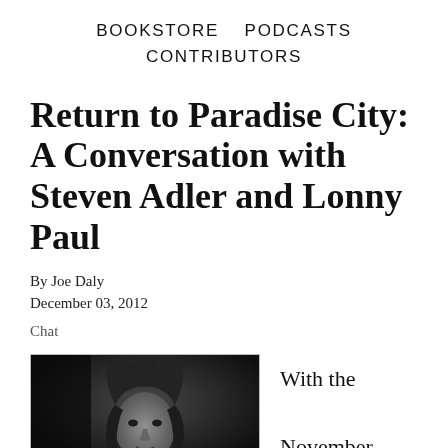BOOKSTORE   PODCASTS
CONTRIBUTORS
Return to Paradise City: A Conversation with Steven Adler and Lonny Paul
By Joe Daly
December 03, 2012
Chat
[Figure (photo): Black and white portrait photo of a person with long wavy hair]
With the November